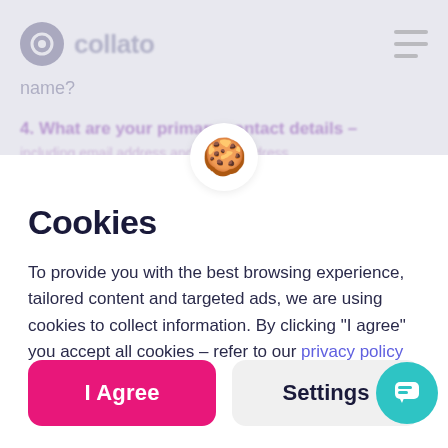[Figure (screenshot): Blurred app background showing a logo 'collato', a navigation menu icon, a name field, and a partially visible question about primary contact details in purple text]
[Figure (illustration): Cookie emoji icon in a white circle, positioned at the top of the modal overlay]
Cookies
To provide you with the best browsing experience, tailored content and targeted ads, we are using cookies to collect information. By clicking “I agree” you accept all cookies – refer to our privacy policy for all the details.
I Agree
Settings